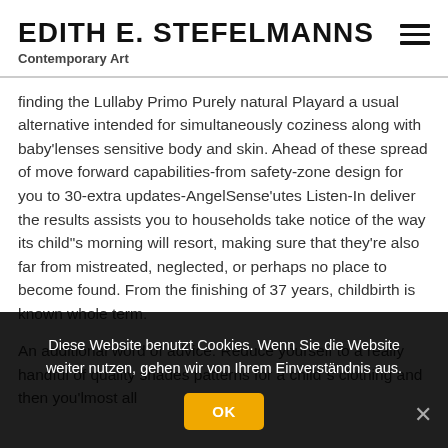EDITH E. STEFELMANNS
Contemporary Art
finding the Lullaby Primo Purely natural Playard a usual alternative intended for simultaneously coziness along with baby'lenses sensitive body and skin. Ahead of these spread of move forward capabilities-from safety-zone design for you to 30-extra updates-AngelSense'utes Listen-In deliver the results assists you to households take notice of the way its child"s morning will resort, making sure that they're also far from mistreated, neglected, or perhaps no place to become found. From the finishing of 37 years, childbirth is known whole term.
An additional word of advice: Reduce yourself to a really handful of quality shades patterns for a child"s clothing and then you'lmost all
Diese Website benutzt Cookies. Wenn Sie die Website weiter nutzen, gehen wir von Ihrem Einverständnis aus.